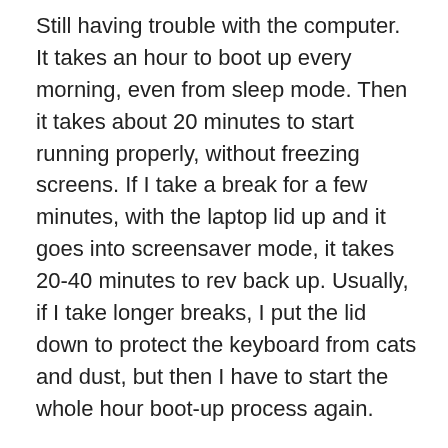Still having trouble with the computer. It takes an hour to boot up every morning, even from sleep mode. Then it takes about 20 minutes to start running properly, without freezing screens. If I take a break for a few minutes, with the laptop lid up and it goes into screensaver mode, it takes 20-40 minutes to rev back up. Usually, if I take longer breaks, I put the lid down to protect the keyboard from cats and dust, but then I have to start the whole hour boot-up process again.
This is not okay. It cuts in too much of my workday. How is this an “improvement” or an “upgrade”? I have PLENTY of space on the hard drive for this upgrade.
I got the email for the World’s Largest Poem, giving me the heads-up that I will get my prompt in 7-10 days. So excited to be a part of this.